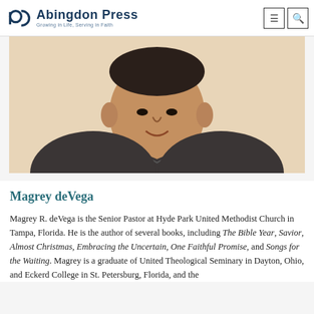Abingdon Press — Growing in Life, Serving in Faith
[Figure (photo): Portrait photo of Magrey deVega, a man wearing a dark button-up shirt, photographed against a light beige/cream background]
Magrey deVega
Magrey R. deVega is the Senior Pastor at Hyde Park United Methodist Church in Tampa, Florida. He is the author of several books, including The Bible Year, Savior, Almost Christmas, Embracing the Uncertain, One Faithful Promise, and Songs for the Waiting. Magrey is a graduate of United Theological Seminary in Dayton, Ohio, and Eckerd College in St. Petersburg, Florida, and the